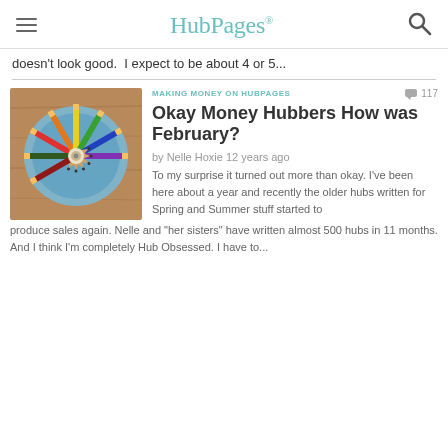HubPages
doesn't look good.  I expect to be about 4 or 5...
[Figure (photo): Overhead view of colorful pencils arranged in a circle on a blue plate on a wooden surface]
MAKING MONEY ON HUBPAGES
Okay Money Hubbers How was February?
by Nelle Hoxie 12 years ago
To my surprise it turned out more than okay. I've been here about a year and recently the older hubs written for Spring and Summer stuff started to produce sales again. Nelle and "her sisters" have written almost 500 hubs in 11 months. And I think I'm completely Hub Obsessed. I have to...